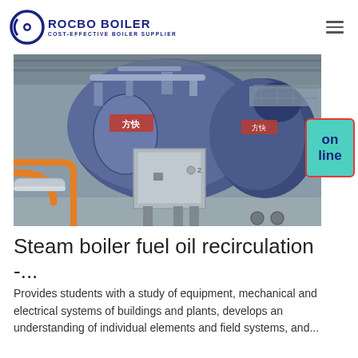ROCBO BOILER — COST-EFFECTIVE BOILER SUPPLIER
[Figure (photo): Industrial steam boilers in a factory/warehouse setting. Two large blue horizontal shell boilers with Chinese text markings, connected to pipes and a grey control cabinet. Orange pipes visible on the left side. Steel frame structure and metal roof visible.]
Steam boiler fuel oil recirculation -...
Provides students with a study of equipment, mechanical and electrical systems of buildings and plants, develops an understanding of individual elements and field systems, and...